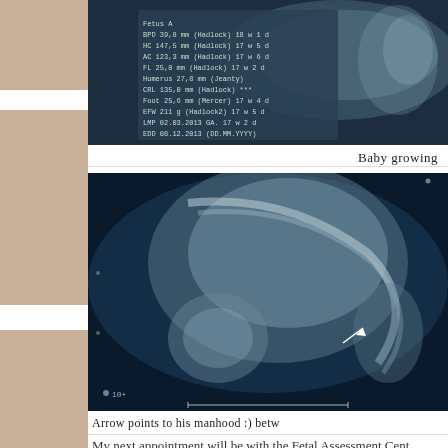[Figure (photo): Ultrasound image with measurement data overlay showing fetal biometry measurements including BPD, HC, AC, FL and other parameters with gestational age estimates]
Baby growing
[Figure (photo): Ultrasound image showing fetal body with arrow pointing to male genitalia]
Arrow points to his manhood :) betw
My next appointment will be with the Fetal Assessment Cent